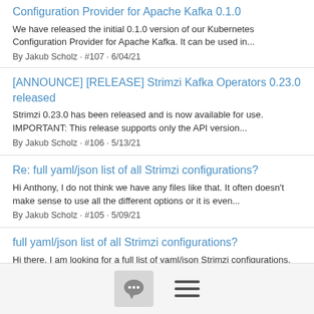Configuration Provider for Apache Kafka 0.1.0
We have released the initial 0.1.0 version of our Kubernetes Configuration Provider for Apache Kafka. It can be used in...
By Jakub Scholz · #107 · 6/04/21
[ANNOUNCE] [RELEASE] Strimzi Kafka Operators 0.23.0 released
Strimzi 0.23.0 has been released and is now available for use. IMPORTANT: This release supports only the API version...
By Jakub Scholz · #106 · 5/13/21
Re: full yaml/json list of all Strimzi configurations?
Hi Anthony, I do not think we have any files like that. It often doesn't make sense to use all the different options or it is even...
By Jakub Scholz · #105 · 5/09/21
full yaml/json list of all Strimzi configurations?
Hi there, I am looking for a full list of yaml/json Strimzi configurations, does one exist? This could just be a large YAML...
By Anthony Bonner · #104 · 5/09/21